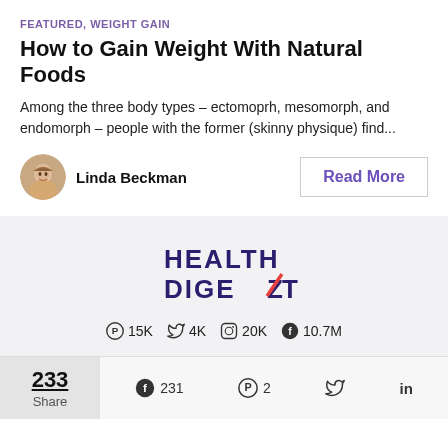FEATURED, WEIGHT GAIN
How to Gain Weight With Natural Foods
Among the three body types – ectomoprh, mesomorph, and endomorph – people with the former (skinny physique) find...
Linda Beckman
Read More
[Figure (logo): Health Digest logo with HEALTH DIGEZT text and social media follower counts: Pinterest 15K, Twitter 4K, Instagram 20K, Facebook 10.7M]
233 Share   231   2
233
Share
231
2